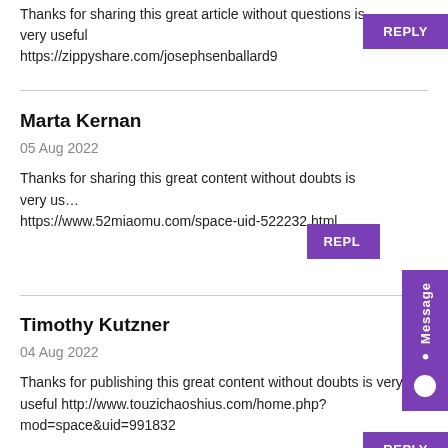Thanks for sharing this great article without questions is very useful https://zippyshare.com/josephsenballard9
REPLY
Marta Kernan
05 Aug 2022
Thanks for sharing this great content without doubts is very useful https://www.52miaomu.com/space-uid-522232.html
REPLY
Timothy Kutzner
04 Aug 2022
Thanks for publishing this great content without doubts is very useful http://www.touzichaoshius.com/home.php?mod=space&uid=991832
REPLY